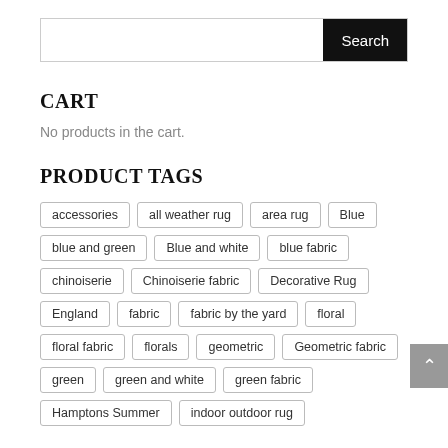Search
CART
No products in the cart.
PRODUCT TAGS
accessories
all weather rug
area rug
Blue
blue and green
Blue and white
blue fabric
chinoiserie
Chinoiserie fabric
Decorative Rug
England
fabric
fabric by the yard
floral
floral fabric
florals
geometric
Geometric fabric
green
green and white
green fabric
Hamptons Summer
indoor outdoor rug